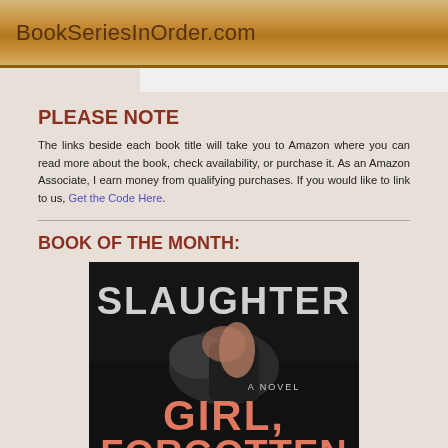BookSeriesInOrder.com
PLEASE NOTE
The links beside each book title will take you to Amazon where you can read more about the book, check availability, or purchase it. As an Amazon Associate, I earn money from qualifying purchases. If you would like to link to us, Get the Code Here.
BOOK OF THE MONTH:
[Figure (photo): Book cover of 'Girl, Forgotten' by Slaughter, a novel. Dark background with large white text 'SLAUGHTER' at top, salmon/orange text 'GIRL, FORGOTTEN' at bottom, and 'A NOVEL' in smaller white text in the middle. A dark object (appears to be a hand gripping something) is shown.]